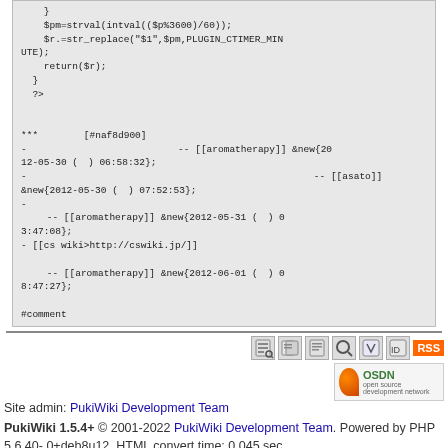[Figure (screenshot): Code block showing PHP code and wiki comment entries with Japanese text and timestamps]
Site admin: PukWiki Development Team
PukiWiki 1.5.4+ © 2001-2022 PukiWiki Development Team. Powered by PHP 5.6.40-0+deb8u12. HTML convert time: 0.045 sec.